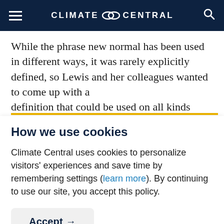CLIMATE CENTRAL
While the phrase new normal has been used in different ways, it was rarely explicitly defined, so Lewis and her colleagues wanted to come up with a definition that could be used on all kinds
How we use cookies
Climate Central uses cookies to personalize visitors' experiences and save time by remembering settings (learn more). By continuing to use our site, you accept this policy.
Accept →